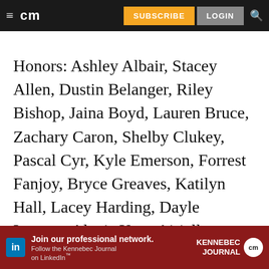cm | SUBSCRIBE | LOGIN
Honors: Ashley Albair, Stacey Allen, Dustin Belanger, Riley Bishop, Jaina Boyd, Lauren Bruce, Zachary Caron, Shelby Clukey, Pascal Cyr, Kyle Emerson, Forrest Fanjoy, Bryce Greaves, Katilyn Hall, Lacey Harding, Dayle Iverson, Alexis Kerr, Airiell Knowlton, Diana Mauro, David McKenney, Jason Millette, Emmalee Moulton, Kaitlyn Paquin, Phoebe Phillips, Alexander Romero, Emmitt Ross, Makayla Smith, Erica Summerhill, Bryce [continues]
[Figure (other): LinkedIn advertisement banner for Kennebec Journal professional network with text 'Join our professional network. Follow the Kennebec Journal on LinkedIn.']